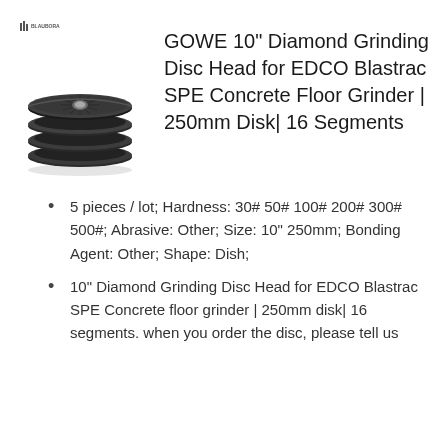[Figure (illustration): Stack of black diamond grinding discs photographed at an angle, with a small BLAUBORA logo above the image]
GOWE 10" Diamond Grinding Disc Head for EDCO Blastrac SPE Concrete Floor Grinder | 250mm Disk| 16 Segments
5 pieces / lot; Hardness: 30# 50# 100# 200# 300# 500#; Abrasive: Other; Size: 10" 250mm; Bonding Agent: Other; Shape: Dish;
10" Diamond Grinding Disc Head for EDCO Blastrac SPE Concrete floor grinder | 250mm disk| 16 segments. when you order the disc, please tell us